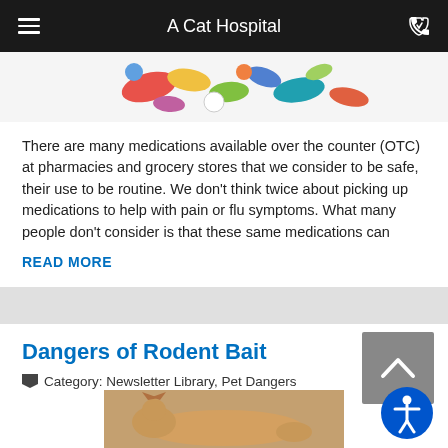A Cat Hospital
[Figure (photo): Colorful assorted pills and capsules scattered on a white surface]
There are many medications available over the counter (OTC) at pharmacies and grocery stores that we consider to be safe, their use to be routine. We don't think twice about picking up medications to help with pain or flu symptoms. What many people don't consider is that these same medications can
READ MORE
Dangers of Rodent Bait
Category: Newsletter Library, Pet Dangers
[Figure (photo): Cat lying on its side, appearing ill or lethargic]